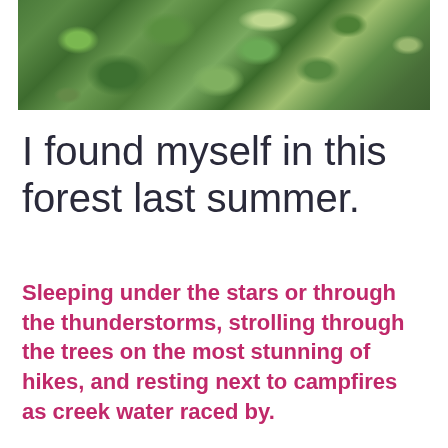[Figure (photo): Aerial or close-up view of a dense green forest or shrubland canopy with lush foliage in various shades of green]
I found myself in this forest last summer.
Sleeping under the stars or through the thunderstorms, strolling through the trees on the most stunning of hikes, and resting next to campfires as creek water raced by.